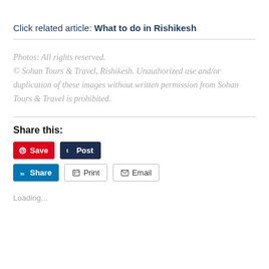Click related article: What to do in Rishikesh
Photos: All rights reserved.
© Sohan Tours & Travel, Rishikesh. Unauthorized use and/or duplication of these images without written permission from Sohan Tours & Travel is prohibited.
Share this:
Loading...